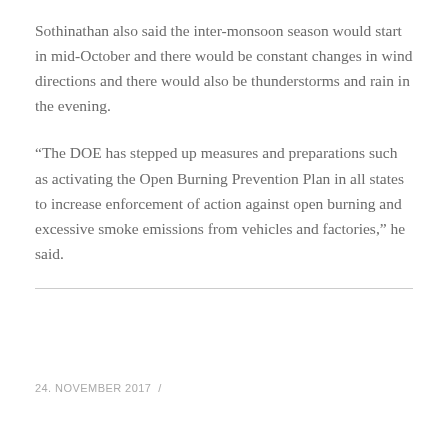Sothinathan also said the inter-monsoon season would start in mid-October and there would be constant changes in wind directions and there would also be thunderstorms and rain in the evening.
“The DOE has stepped up measures and preparations such as activating the Open Burning Prevention Plan in all states to increase enforcement of action against open burning and excessive smoke emissions from vehicles and factories,” he said.
24. NOVEMBER 2017  /